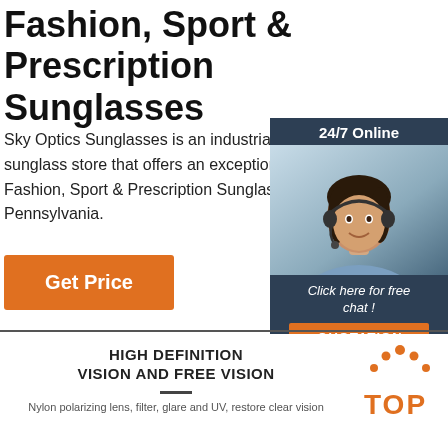Fashion, Sport & Prescription Sunglasses
Sky Optics Sunglasses is an industrial boutique sunglass store that offers an exceptional range of Fashion, Sport & Prescription Sunglasses in Pennsylvania.
Get Price
[Figure (infographic): 24/7 Online chat widget with a customer service representative photo, 'Click here for free chat!' text, and an orange QUOTATION button]
HIGH DEFINITION VISION AND FREE VISION
[Figure (logo): TOP logo with orange dot pattern above the text]
Nylon polarizing lens, filter, glare and UV, restore clear vision